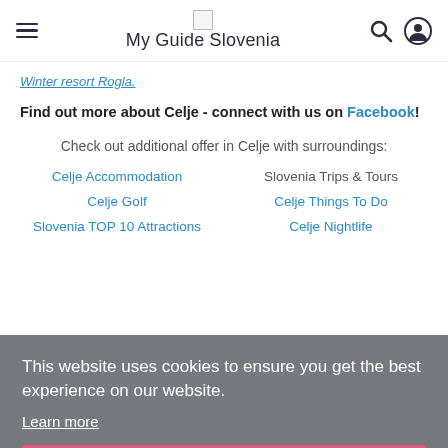My Guide Slovenia
Winter resort Rogla.
Find out more about Celje - connect with us on Facebook!
Check out additional offer in Celje with surroundings:
Celje Accommodation
Slovenia Trips & Tours
Celje Golf
Celje Things To Do
Slovenia TOP 10 Attractions
Celje Nightlife
This website uses cookies to ensure you get the best experience on our website.
Learn more
Got it!